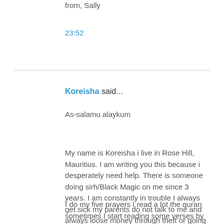from, Sally
23:52
Koreisha said...
As-salamu alaykum
My name is Koreisha i live in Rose Hill, Mauritius. I am writing you this because i desperately need help. There is someone doing sirh/Black Magic on me since 3 years. I am constantly in trouble I always get sick my parents do not talk to me and always loose money through theft or going to Doctor and once a week I fall down without knowing how. But lately things has got worst there is something which is trying to strangled me.
I do my five prayers I read a lot the quran sometimes I start reading some verses by myself and everything